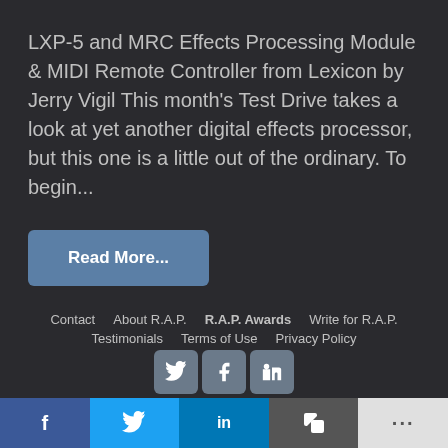LXP-5 and MRC Effects Processing Module & MIDI Remote Controller from Lexicon by Jerry Vigil This month's Test Drive takes a look at yet another digital effects processor, but this one is a little out of the ordinary. To begin...
Read More...
Contact   About R.A.P.   R.A.P. Awards   Write for R.A.P.   Testimonials   Terms of Use   Privacy Policy
[Figure (other): Social media icons row: Twitter bird, Facebook f, RSS feed symbol]
[Figure (other): Bottom sharing bar with Facebook, Twitter, LinkedIn, copy, and more options buttons]